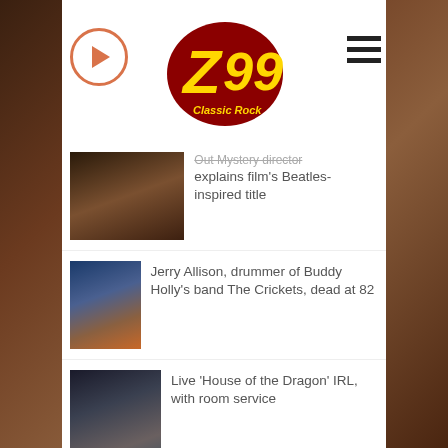[Figure (logo): Z99 Classic Rock radio station logo — yellow and red text on dark red shield shape]
Out Mystery director explains film's Beatles-inspired title
Jerry Allison, drummer of Buddy Holly's band The Crickets, dead at 82
Live 'House of the Dragon' IRL, with room service
Julianna Margulies to return to 'The Morning Show' for season 3